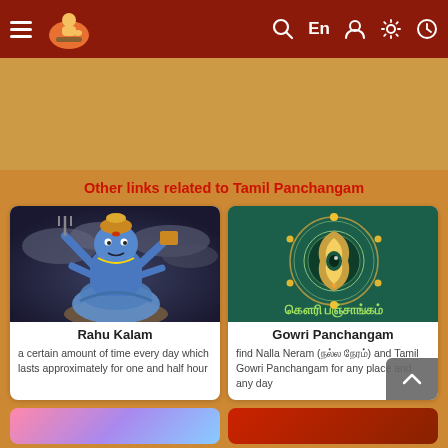Navigation bar with menu, logo, search, En, user, settings, clock icons
[Figure (other): Advertisement banner area with orange/tan background]
Other links related to Tamil Panchangam
[Figure (illustration): Illustration of Rahu deity — blue multi-armed figure with serpent body holding trident and book, against dark cloudy sky]
Rahu Kalam
a certain amount of time every day which lasts approximately for one and half hour
[Figure (illustration): Gowri Panchangam dark green card with circular golden symbol, flame/eye motif, decorative dots, Tamil text 'கௌரி பஞ்சாங்கம்']
Gowri Panchangam
find Nalla Neram (நல்ல நேரம்) and Tamil Gowri Panchangam for any place and any day
[Figure (illustration): Partial view of bottom-left card with pink/gradient background]
[Figure (illustration): Partial view of bottom-right card with red/scroll imagery]